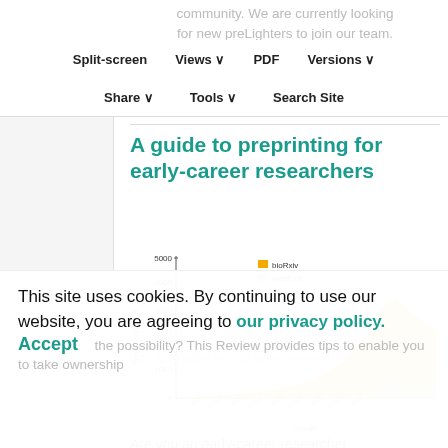Split-screen  Views  PDF  Versions
Share  Tools  Search Site
A guide to preprinting for early-career researchers
[Figure (area-chart): Area chart showing monthly preprints posted on bioRxiv (orange) and medRxiv (gray) from 2013 to 2021, showing rapid growth especially from 2020 onward. bioRxiv peaks around 4000+ per month, medRxiv grows from 2020.]
Are you an early-career researcher
This site uses cookies. By continuing to use our website, you are agreeing to our privacy policy. Accept